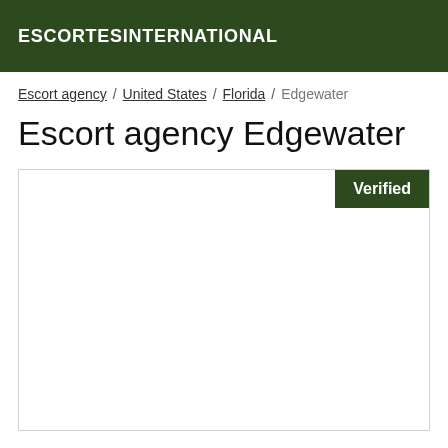ESCORTESINTERNATIONAL
Escort agency / United States / Florida / Edgewater
Escort agency Edgewater
[Figure (other): White card/listing box with a dark green 'Verified' badge in the top-right corner]